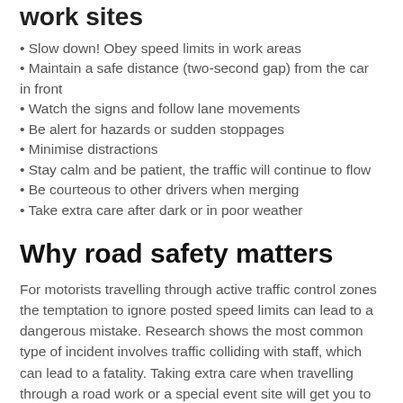work sites
Slow down! Obey speed limits in work areas
Maintain a safe distance (two-second gap) from the car in front
Watch the signs and follow lane movements
Be alert for hazards or sudden stoppages
Minimise distractions
Stay calm and be patient, the traffic will continue to flow
Be courteous to other drivers when merging
Take extra care after dark or in poor weather
Why road safety matters
For motorists travelling through active traffic control zones the temptation to ignore posted speed limits can lead to a dangerous mistake. Research shows the most common type of incident involves traffic colliding with staff, which can lead to a fatality. Taking extra care when travelling through a road work or a special event site will get you to your destination safely while making sure the worksite is as safe as your workplace.